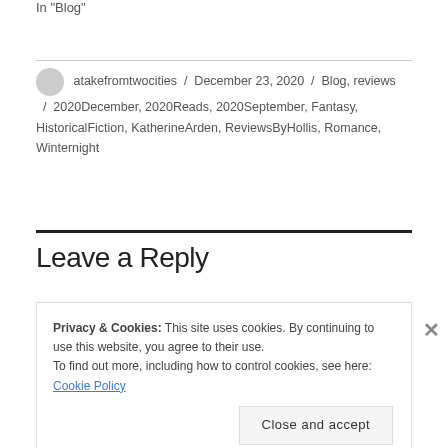In "Blog"
atakefromtwocities / December 23, 2020 / Blog, reviews / 2020December, 2020Reads, 2020September, Fantasy, HistoricalFiction, KatherineArden, ReviewsByHollis, Romance, Winternight
Leave a Reply
Privacy & Cookies: This site uses cookies. By continuing to use this website, you agree to their use. To find out more, including how to control cookies, see here: Cookie Policy